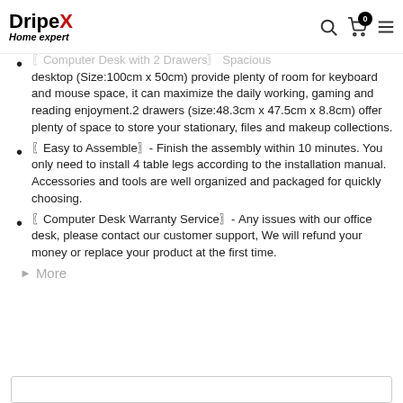DripeX Home expert
〖Computer Desk with 2 Drawers〗- Spacious desktop (Size:100cm x 50cm) provide plenty of room for keyboard and mouse space, it can maximize the daily working, gaming and reading enjoyment.2 drawers (size:48.3cm x 47.5cm x 8.8cm) offer plenty of space to store your stationary, files and makeup collections.
〖Easy to Assemble〗- Finish the assembly within 10 minutes. You only need to install 4 table legs according to the installation manual. Accessories and tools are well organized and packaged for quickly choosing.
〖Computer Desk Warranty Service〗- Any issues with our office desk, please contact our customer support, We will refund your money or replace your product at the first time.
► More